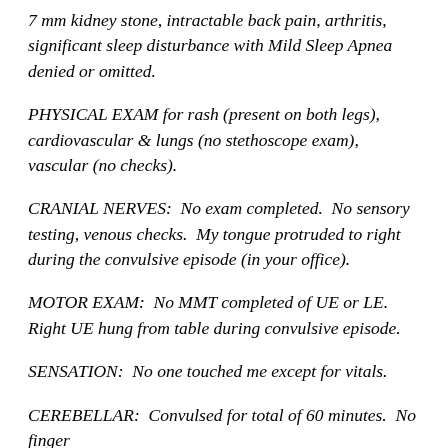7 mm kidney stone, intractable back pain, arthritis, significant sleep disturbance with Mild Sleep Apnea denied or omitted.
PHYSICAL EXAM for rash (present on both legs), cardiovascular & lungs (no stethoscope exam), vascular (no checks).
CRANIAL NERVES:  No exam completed.  No sensory testing, venous checks.  My tongue protruded to right during the convulsive episode (in your office).
MOTOR EXAM:  No MMT completed of UE or LE.  Right UE hung from table during convulsive episode.
SENSATION:  No one touched me except for vitals.
CEREBELLAR:  Convulsed for total of 60 minutes.  No finger